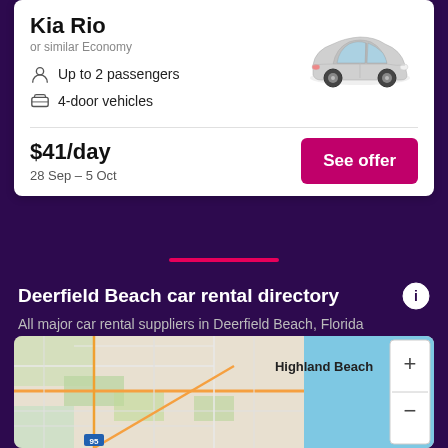Kia Rio
or similar Economy
Up to 2 passengers
4-door vehicles
[Figure (photo): Silver Kia Rio sedan car image]
$41/day
28 Sep – 5 Oct
Deerfield Beach car rental directory
All major car rental suppliers in Deerfield Beach, Florida
[Figure (map): Map showing Deerfield Beach and Highland Beach, Florida area with street map and water]